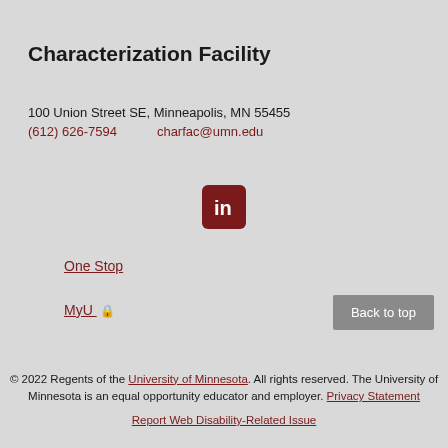Characterization Facility
100 Union Street SE, Minneapolis, MN 55455
(612) 626-7594    charfac@umn.edu
[Figure (logo): LinkedIn icon — dark red rounded square with white 'in' logo]
One Stop
MyU 🔒
Back to top
© 2022 Regents of the University of Minnesota. All rights reserved. The University of Minnesota is an equal opportunity educator and employer. Privacy Statement
Report Web Disability-Related Issue